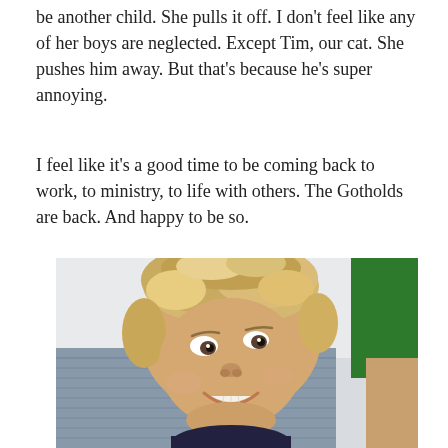be another child. She pulls it off. I don't feel like any of her boys are neglected. Except Tim, our cat. She pushes him away. But that's because he's super annoying.
I feel like it's a good time to be coming back to work, to ministry, to life with others. The Gotholds are back. And happy to be so.
[Figure (photo): A smiling young blonde toddler boy with curly hair, looking upward and to the side, wearing a dark shirt. In the background to the right is a partial view of someone wearing a green shirt. The setting appears to be indoors with a light-colored sofa or chair visible.]